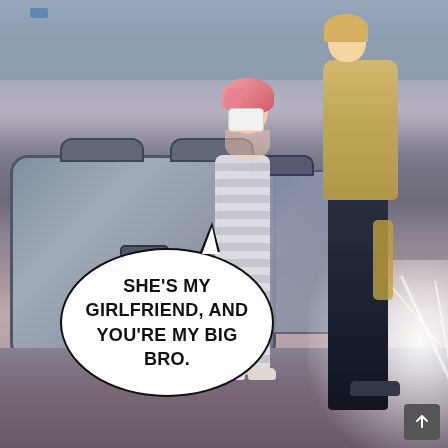[Figure (illustration): Manga/webtoon panel showing two characters near luggage/suitcases in what appears to be an airport or station. A shorter character with pink hair wearing a striped outfit and mask bows their head toward a taller character in a tan shirt and dark pants. White plant foliage glows in the background on the right side. A speech bubble with a tail pointing upward contains dialogue text.]
SHE'S MY GIRLFRIEND, AND YOU'RE MY BIG BRO.